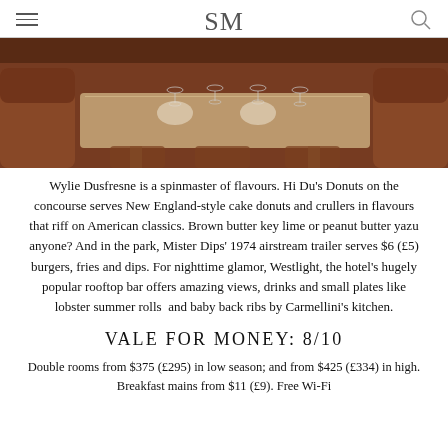SM
[Figure (photo): Interior of a restaurant showing a set dining table with white tablecloth, wine glasses, and brown leather booth seating in warm amber lighting.]
Wylie Dusfresne is a spinmaster of flavours. Hi Du's Donuts on the concourse serves New England-style cake donuts and crullers in flavours that riff on American classics. Brown butter key lime or peanut butter yazu anyone? And in the park, Mister Dips' 1974 airstream trailer serves $6 (£5) burgers, fries and dips. For nighttime glamor, Westlight, the hotel's hugely popular rooftop bar offers amazing views, drinks and small plates like lobster summer rolls  and baby back ribs by Carmellini's kitchen.
VALE FOR MONEY: 8/10
Double rooms from $375 (£295) in low season; and from $425 (£334) in high. Breakfast mains from $11 (£9). Free Wi-Fi